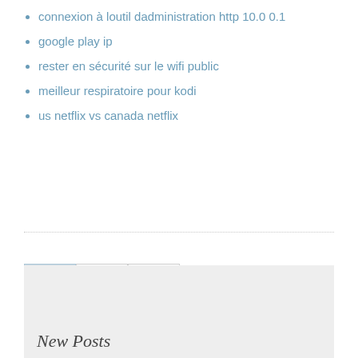connexion à loutil dadministration http 10.0 0.1
google play ip
rester en sécurité sur le wifi public
meilleur respiratoire pour kodi
us netflix vs canada netflix
1  2  ›
New Posts